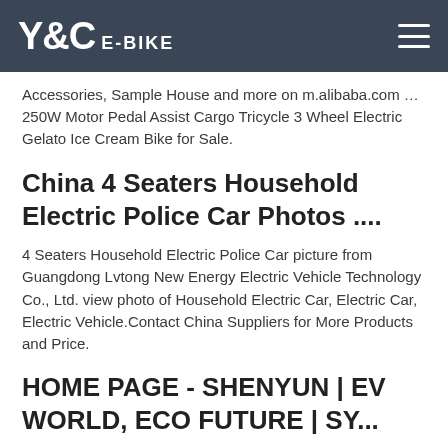Y&C E-BIKE
Accessories, Sample House and more on m.alibaba.com … 250W Motor Pedal Assist Cargo Tricycle 3 Wheel Electric Gelato Ice Cream Bike for Sale.
China 4 Seaters Household Electric Police Car Photos ....
4 Seaters Household Electric Police Car picture from Guangdong Lvtong New Energy Electric Vehicle Technology Co., Ltd. view photo of Household Electric Car, Electric Car, Electric Vehicle.Contact China Suppliers for More Products and Price.
HOME PAGE - SHENYUN | EV WORLD, ECO FUTURE | SY...
New Products, High Quality, Leading Technology, Professional Producing, Stable Supply, Improved Service. Our company is your choice to customize electric bike, electric scooter and other related products. Quality,